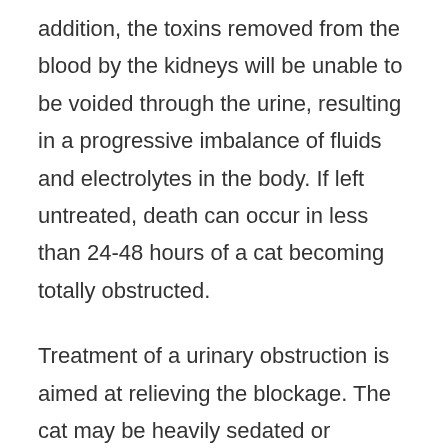addition, the toxins removed from the blood by the kidneys will be unable to be voided through the urine, resulting in a progressive imbalance of fluids and electrolytes in the body. If left untreated, death can occur in less than 24-48 hours of a cat becoming totally obstructed.
Treatment of a urinary obstruction is aimed at relieving the blockage. The cat may be heavily sedated or anesthetized, and a urinary catheter be passed through the urethra. In many cases, this can dislodge the blockage, and restore the flow of urine. In more severe cases, surgery may be required to relieve the blockage and